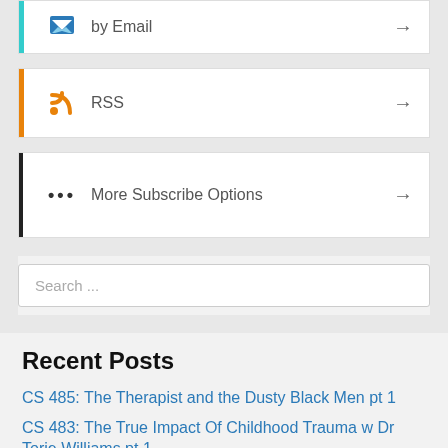by Email
RSS
More Subscribe Options
Search ...
Recent Posts
CS 485: The Therapist and the Dusty Black Men pt 1
CS 483: The True Impact Of Childhood Trauma w Dr Torie Williams pt 1
CS 476: Twerking Politicians and the Lost Generation pt 2